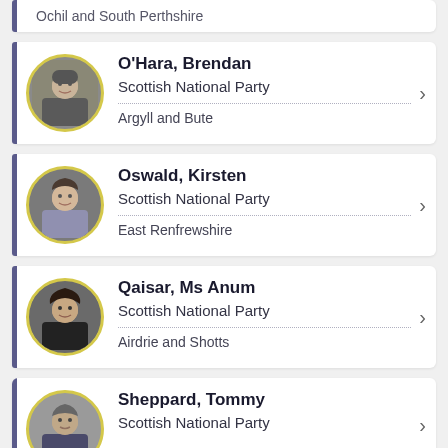Ochil and South Perthshire
O'Hara, Brendan | Scottish National Party | Argyll and Bute
Oswald, Kirsten | Scottish National Party | East Renfrewshire
Qaisar, Ms Anum | Scottish National Party | Airdrie and Shotts
Sheppard, Tommy | Scottish National Party